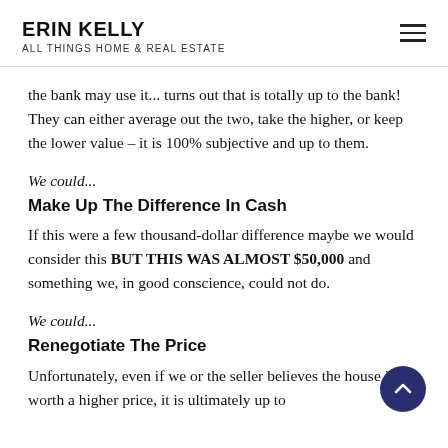ERIN KELLY
ALL THINGS HOME & REAL ESTATE
the bank may use it... turns out that is totally up to the bank! They can either average out the two, take the higher, or keep the lower value – it is 100% subjective and up to them.
We could...
Make Up The Difference In Cash
If this were a few thousand-dollar difference maybe we would consider this BUT THIS WAS ALMOST $50,000 and something we, in good conscience, could not do.
We could...
Renegotiate The Price
Unfortunately, even if we or the seller believes the house is worth a higher price, it is ultimately up to